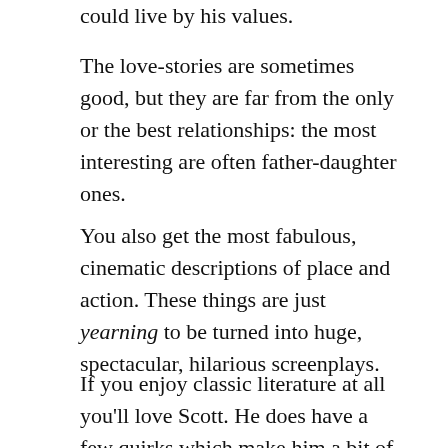could live by his values.
The love-stories are sometimes good, but they are far from the only or the best relationships: the most interesting are often father-daughter ones.
You also get the most fabulous, cinematic descriptions of place and action. These things are just yearning to be turned into huge, spectacular, hilarious screenplays.
If you enjoy classic literature at all you'll love Scott. He does have a few quirks which make him a bit of a challenge to the uninitiated but if you know what they are they are minor